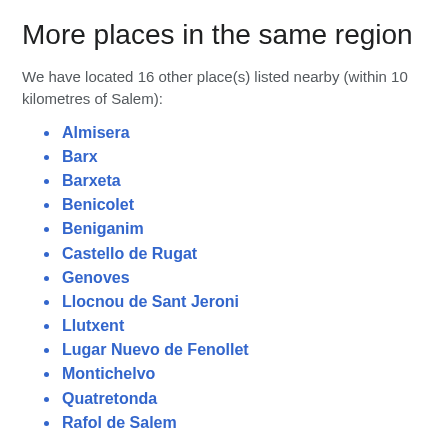More places in the same region
We have located 16 other place(s) listed nearby (within 10 kilometres of Salem):
Almisera
Barx
Barxeta
Benicolet
Beniganim
Castello de Rugat
Genoves
Llocnou de Sant Jeroni
Llutxent
Lugar Nuevo de Fenollet
Montichelvo
Quatretonda
Rafol de Salem